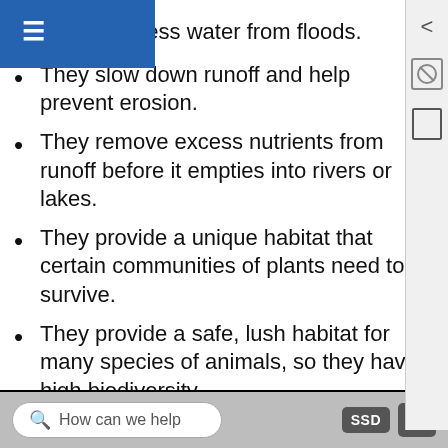y store excess water from floods.
They slow down runoff and help prevent erosion.
They remove excess nutrients from runoff before it empties into rivers or lakes.
They provide a unique habitat that certain communities of plants need to survive.
They provide a safe, lush habitat for many species of animals, so they have high biodiversity.
[Figure (screenshot): Video thumbnail for 'Aquatic Biomes Wetlands | Biology | Ecology' by Great Pacific Media, shown on a dark/black background with a white circular logo and sky/water thumbnail below.]